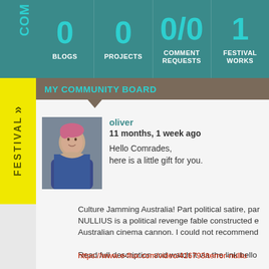COM
FESTIVAL »
[Figure (infographic): Stats bar showing 0 BLOGS, 0 PROJECTS, 0/0 COMMENT REQUESTS, 1 FESTIVAL WORKS]
MY COMMUNITY BOARD
[Figure (photo): Profile photo of oliver]
oliver
11 months, 1 week ago
Hello Comrades,
here is a little gift for you.
Culture Jamming Australia! Part political satire, par... NULLIUS is a political revenge fable constructed e... Australian cinema cannon. I could not recommend...
Read full description and watch it via the link bello...
https://www.e-flux.com/video/416793/terror-nulliu...